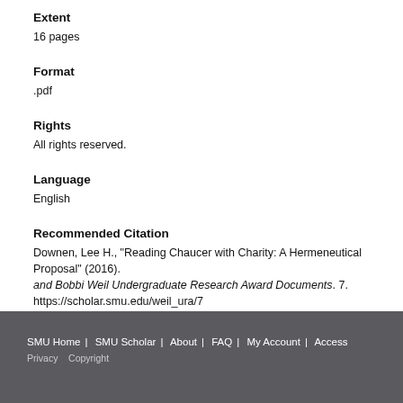Extent
16 pages
Format
.pdf
Rights
All rights reserved.
Language
English
Recommended Citation
Downen, Lee H., "Reading Chaucer with Charity: A Hermeneutical Proposal" (2016). and Bobbi Weil Undergraduate Research Award Documents. 7. https://scholar.smu.edu/weil_ura/7
SMU Home | SMU Scholar | About | FAQ | My Account | Access   Privacy   Copyright